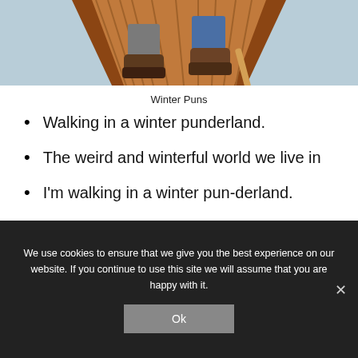[Figure (photo): View from inside a wooden boat looking down at two pairs of feet/shoes, water visible in background]
Winter Puns
Walking in a winter punderland.
The weird and winterful world we live in
I'm walking in a winter pun-derland.
Snow way out.
We use cookies to ensure that we give you the best experience on our website. If you continue to use this site we will assume that you are happy with it.